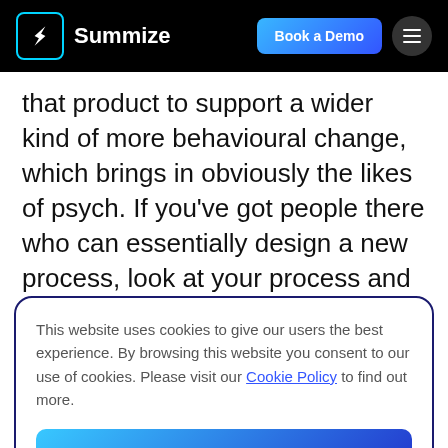Summize | Book a Demo
that product to support a wider kind of more behavioural change, which brings in obviously the likes of psych. If you've got people there who can essentially design a new process, look at your process and fit the products to make that change. I think
This website uses cookies to give our users the best experience. By browsing this website you consent to our use of cookies. Please visit our Cookie Policy to find out more.
Okay
Dom Birch: